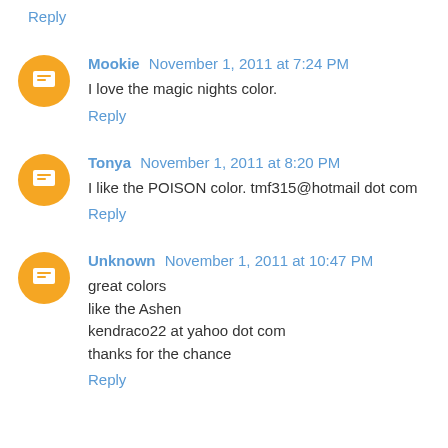Reply
Mookie  November 1, 2011 at 7:24 PM
I love the magic nights color.
Reply
Tonya  November 1, 2011 at 8:20 PM
I like the POISON color. tmf315@hotmail dot com
Reply
Unknown  November 1, 2011 at 10:47 PM
great colors
like the Ashen
kendraco22 at yahoo dot com
thanks for the chance
Reply